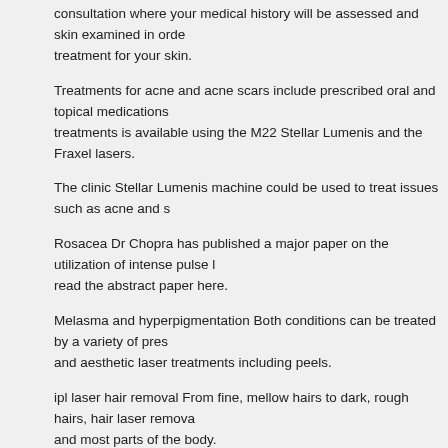consultation where your medical history will be assessed and skin examined in order to recommend appropriate treatment for your skin.
Treatments for acne and acne scars include prescribed oral and topical medications. A range of laser treatments is available using the M22 Stellar Lumenis and the Fraxel lasers.
The clinic Stellar Lumenis machine could be used to treat issues such as acne and s...
Rosacea Dr Chopra has published a major paper on the utilization of intense pulse l... read the abstract paper here.
Melasma and hyperpigmentation Both conditions can be treated by a variety of pres... and aesthetic laser treatments including peels.
ipl laser hair removal From fine, mellow hairs to dark, rough hairs, hair laser remova... and most parts of the body.
Starting the treatment in the new year would mean the hair removal course is compl... summer to the full.
fat burning The clinic also offers weight loss programmes.
The LDC Cambridge is situated at The Cambridge Country Club, Toft roads, Bourn,...
Please be aware that treatment results may vary for the individual. Please also visit ... regarding possible unwanted.